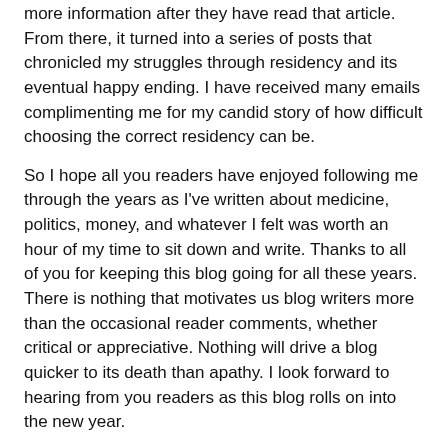more information after they have read that article. From there, it turned into a series of posts that chronicled my struggles through residency and its eventual happy ending. I have received many emails complimenting me for my candid story of how difficult choosing the correct residency can be.
So I hope all you readers have enjoyed following me through the years as I've written about medicine, politics, money, and whatever I felt was worth an hour of my time to sit down and write. Thanks to all of you for keeping this blog going for all these years. There is nothing that motivates us blog writers more than the occasional reader comments, whether critical or appreciative. Nothing will drive a blog quicker to its death than apathy. I look forward to hearing from you readers as this blog rolls on into the new year.
Top Ten Blog Posts Of All Time
1. The Dirtiest Part Of The Body
2. Why I Chose Anesthesiology